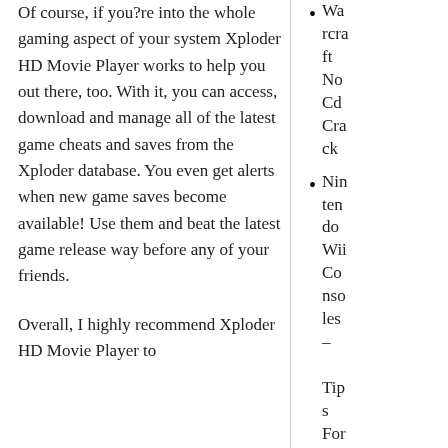Of course, if you?re into the whole gaming aspect of your system Xploder HD Movie Player works to help you out there, too. With it, you can access, download and manage all of the latest game cheats and saves from the Xploder database. You even get alerts when new game saves become available! Use them and beat the latest game release way before any of your friends.
Overall, I highly recommend Xploder HD Movie Player to
Warcraft No Cd Crack
Nintendo Wii Consoles – Tips For